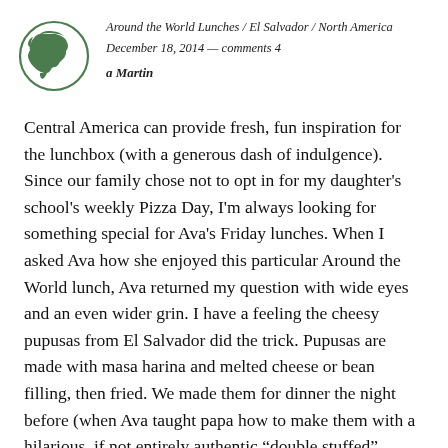[Figure (logo): Green circle logo with North America map silhouette in dark green]
Around the World Lunches / El Salvador / North America
December 18, 2014 — comments 4
a Martin
Central America can provide fresh, fun inspiration for the lunchbox (with a generous dash of indulgence). Since our family chose not to opt in for my daughter's school's weekly Pizza Day, I'm always looking for something special for Ava's Friday lunches. When I asked Ava how she enjoyed this particular Around the World lunch, Ava returned my question with wide eyes and an even wider grin. I have a feeling the cheesy pupusas from El Salvador did the trick. Pupusas are made with masa harina and melted cheese or bean filling, then fried. We made them for dinner the night before (when Ava taught papa how to make them with a hilarious, if not entirely authentic “double stuffed” method). Not bad for five years old! The leftovers were a quick reheat in the school microwave, though they’re